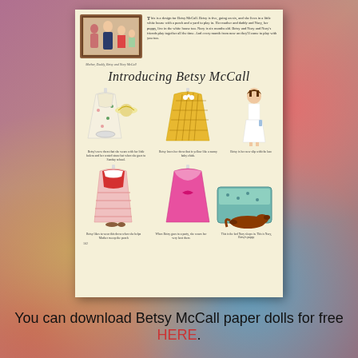[Figure (illustration): Vintage magazine page scan: 'Introducing Betsy McCall' paper doll page with family portrait photo, title, paper doll dresses, and Betsy McCall standing paper doll figure. Multiple illustrated dresses and accessories shown.]
Mother, Daddy, Betsy and Nory McCall
Introducing Betsy McCall
Betsy's new dress that she wears with her little bolero and her rented straw hat when she goes to Sunday school.
Betsy loves her dress that is yellow like a sunny baby chick.
Betsy is her new slip with the lace
Betsy likes to wear this dress when she helps Mother sweep the porch
When Betsy goes to a party, she wears her very best dress
This is the bed Nory sleeps in. This is Nory, Betsy's puppy
You can download Betsy McCall paper dolls for free HERE.